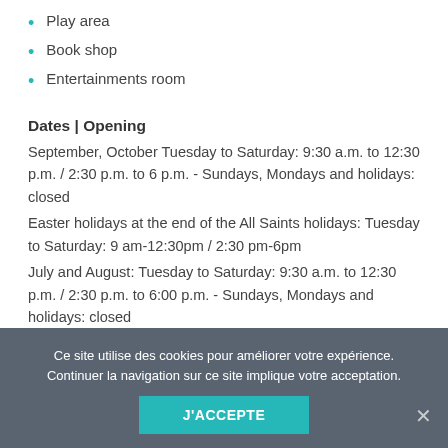Play area
Book shop
Entertainments room
Dates | Opening
September, October Tuesday to Saturday: 9:30 a.m. to 12:30 p.m. / 2:30 p.m. to 6 p.m. - Sundays, Mondays and holidays: closed
Easter holidays at the end of the All Saints holidays: Tuesday to Saturday: 9 am-12:30pm / 2:30 pm-6pm
July and August: Tuesday to Saturday: 9:30 a.m. to 12:30 p.m. / 2:30 p.m. to 6:00 p.m. - Sundays, Mondays and holidays: closed
Christmas holidays: Tuesday to Saturday: 9 a.m. to 12:30 p.m. / 1:30 p.m. to 5 p.m.
Children
La Maison du Chocolat et
Chapelle des Soeurs de la Charité de Nevers, Rue de l'Hospice